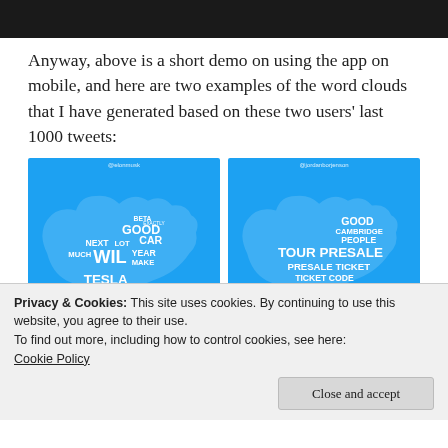[Figure (photo): Black header bar at top of page]
Anyway, above is a short demo on using the app on mobile, and here are two examples of the word clouds that I have generated based on these two users' last 1000 tweets:
[Figure (infographic): Two blue word cloud images side by side showing Twitter word clouds. Left cloud labeled @elonmusk with words: BETA, GOOD, EXACTLY, NEXT, LOT, CAR, MUCH, WILL, YEAR, MAKE, TESLA visible. Right cloud labeled @jordanborjenson with words: GOOD, CAMBRIDGE, PEOPLE, TOUR, PRESALE, PRESALE TICKET, TICKET CODE visible.]
Privacy & Cookies: This site uses cookies. By continuing to use this website, you agree to their use.
To find out more, including how to control cookies, see here: Cookie Policy
Close and accept